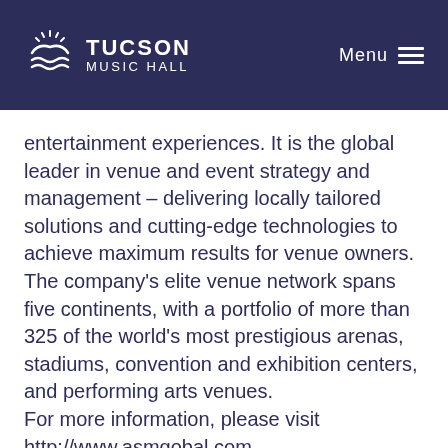Tucson Music Hall | Menu
entertainment experiences. It is the global leader in venue and event strategy and management – delivering locally tailored solutions and cutting-edge technologies to achieve maximum results for venue owners. The company's elite venue network spans five continents, with a portfolio of more than 325 of the world's most prestigious arenas, stadiums, convention and exhibition centers, and performing arts venues. For more information, please visit http://www.asmgobal.com